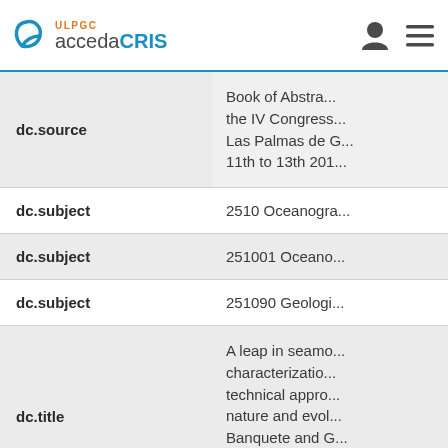ULPGC accedaCRIS
| Field | Value |
| --- | --- |
| dc.source | Book of Abstra... the IV Congress... Las Palmas de G... 11th to 13th 201... |
| dc.subject | 2510 Oceanogra... |
| dc.subject | 251001 Oceano... |
| dc.subject | 251090 Geologi... |
| dc.title | A leap in seamo... characterizatio... technical appro... nature and evol... Banquete and G... (Canary Islands)... (2009-2013) |